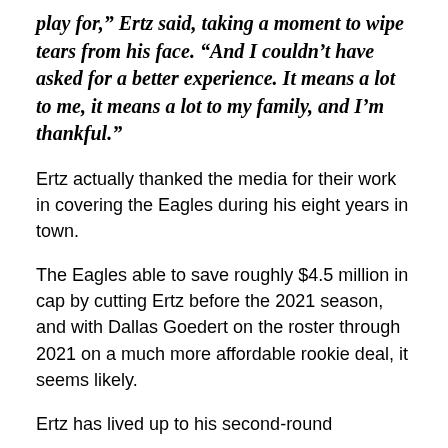play for," Ertz said, taking a moment to wipe tears from his face. "And I couldn't have asked for a better experience. It means a lot to me, it means a lot to my family, and I'm thankful."
Ertz actually thanked the media for their work in covering the Eagles during his eight years in town.
The Eagles able to save roughly $4.5 million in cap by cutting Ertz before the 2021 season, and with Dallas Goedert on the roster through 2021 on a much more affordable rookie deal, it seems likely.
Ertz has lived up to his second-round